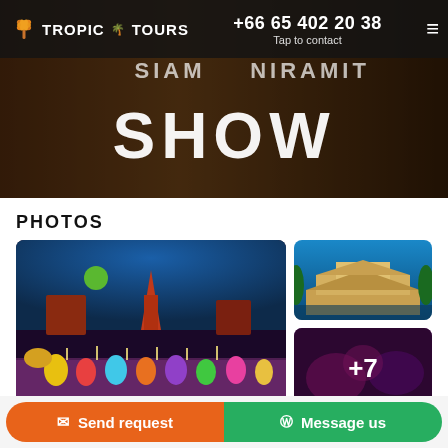TROPIC TOURS | +66 65 402 20 38 | Tap to contact
[Figure (photo): Hero banner showing a colorful theatrical show stage with performers and the word SHOW in large bold letters, with dark background and dramatic lighting]
PHOTOS
[Figure (photo): Large photo of a colorful theatrical stage show with many performers in elaborate costumes, castle/temple backdrop with purple and red lighting and a green moon]
[Figure (photo): Top-right thumbnail: Thai-style temple/palace architecture at night with water reflection and blue sky]
[Figure (photo): Bottom-right thumbnail with +7 overlay indicating 7 more photos, shows purple/magenta theatrical scene]
ADDITIONAL
Send request
Message us